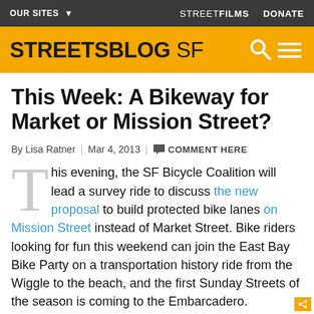OUR SITES ▾   STREETFILMS   DONATE
STREETSBLOG SF
This Week: A Bikeway for Market or Mission Street?
By Lisa Ratner | Mar 4, 2013 | 💬 COMMENT HERE
This evening, the SF Bicycle Coalition will lead a survey ride to discuss the new proposal to build protected bike lanes on Mission Street instead of Market Street. Bike riders looking for fun this weekend can join the East Bay Bike Party on a transportation history ride from the Wiggle to the beach, and the first Sunday Streets of the season is coming to the Embarcadero.